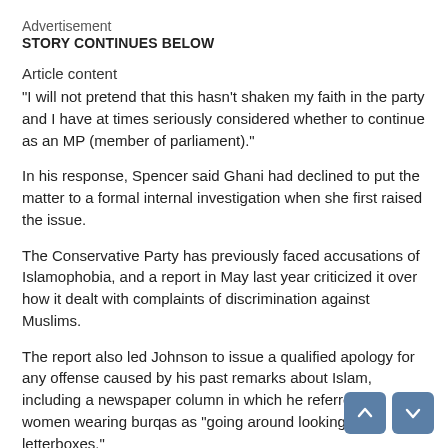Advertisement
STORY CONTINUES BELOW
Article content
“I will not pretend that this hasn’t shaken my faith in the party and I have at times seriously considered whether to continue as an MP (member of parliament).”
In his response, Spencer said Ghani had declined to put the matter to a formal internal investigation when she first raised the issue.
The Conservative Party has previously faced accusations of Islamophobia, and a report in May last year criticized it over how it dealt with complaints of discrimination against Muslims.
The report also led Johnson to issue a qualified apology for any offense caused by his past remarks about Islam, including a newspaper column in which he referred to women wearing burqas as “going around looking like letterboxes.”
The main opposition Labour leader Keir Starmer said the Conservatives must investigate Ghani’s account immediately.